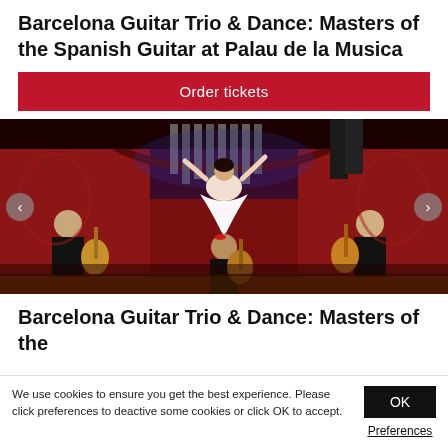Barcelona Guitar Trio & Dance: Masters of the Spanish Guitar at Palau de la Musica
Order tickets
[Figure (photo): Three guitarists seated playing acoustic guitars with a female flamenco dancer leaping in white dress and a male dancer visible above, performing on a richly decorated red baroque stage at Palau de la Musica.]
Barcelona Guitar Trio & Dance: Masters of the
We use cookies to ensure you get the best experience. Please click preferences to deactive some cookies or click OK to accept.